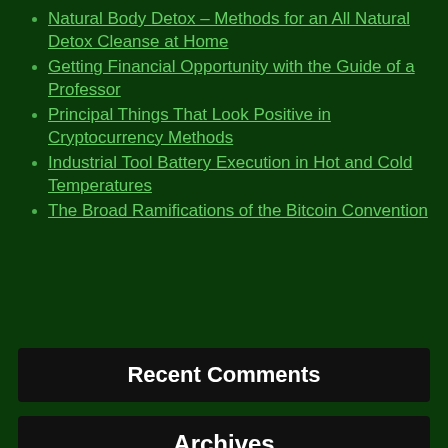Natural Body Detox – Methods for an All Natural Detox Cleanse at Home
Getting Financial Opportunity with the Guide of a Professor
Principal Things That Look Positive in Cryptocurrency Methods
Industrial Tool Battery Execution in Hot and Cold Temperatures
The Broad Ramifications of the Bitcoin Convention
Recent Comments
Archives